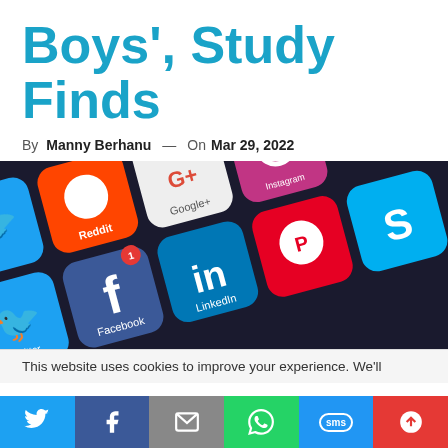Boys', Study Finds
By Manny Berhanu — On Mar 29, 2022
[Figure (photo): Close-up photo of a smartphone screen showing social media app icons including Twitter, Facebook, Reddit, LinkedIn, Instagram, Vimeo, Google+, Pinterest, Skype, and others on a dark background.]
This website uses cookies to improve your experience. We'll
[Figure (infographic): Social media share bar with Twitter, Facebook, Email, WhatsApp, SMS, and Share icons in colored buttons at the bottom of the page.]